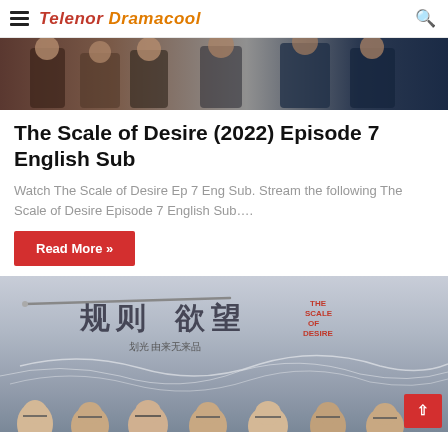Telenor Dramacool
[Figure (photo): Top image showing people in formal attire — a drama scene with characters in brown/dark suits and military uniform against a dark background]
The Scale of Desire (2022) Episode 7 English Sub
Watch The Scale of Desire Ep 7 Eng Sub. Stream the following The Scale of Desire Episode 7 English Sub….
Read More »
[Figure (photo): Movie/drama poster for 'The Scale of Desire' showing Chinese characters title at top, subtitle text, wave/smoke graphic lines, and a row of cast members at the bottom]